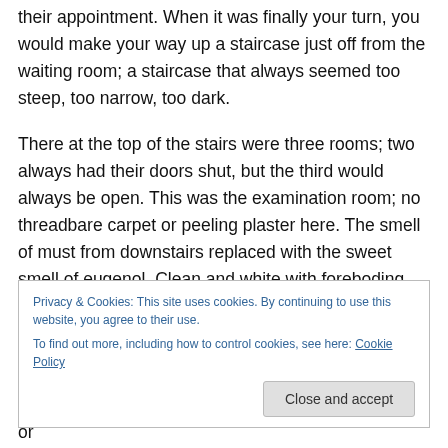their appointment. When it was finally your turn, you would make your way up a staircase just off from the waiting room; a staircase that always seemed too steep, too narrow, too dark.
There at the top of the stairs were three rooms; two always had their doors shut, but the third would always be open. This was the examination room; no threadbare carpet or peeling plaster here. The smell of must from downstairs replaced with the sweet smell of eugenol. Clean and white with foreboding looking machinery, the
Privacy & Cookies: This site uses cookies. By continuing to use this website, you agree to their use.
To find out more, including how to control cookies, see here: Cookie Policy
Close and accept
Not so now; there is no peeling plaster, musty smells or